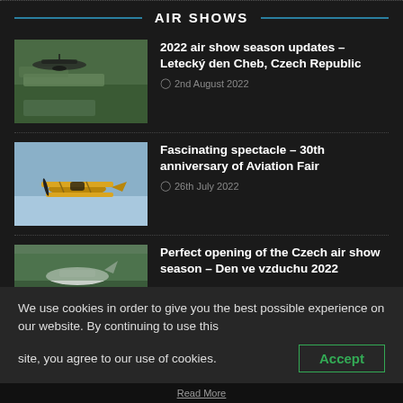AIR SHOWS
[Figure (photo): Vintage propeller aircraft on a green airfield]
2022 air show season updates – Letecký den Cheb, Czech Republic
2nd August 2022
[Figure (photo): Yellow biplane flying in blue sky]
Fascinating spectacle – 30th anniversary of Aviation Fair
26th July 2022
[Figure (photo): Aircraft on water near shore]
Perfect opening of the Czech air show season – Den ve vzduchu 2022
We use cookies in order to give you the best possible experience on our website. By continuing to use this site, you agree to our use of cookies.
Accept
Read More